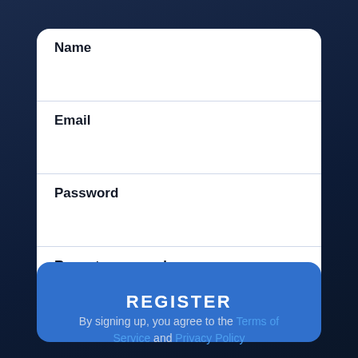Name
Email
Password
Repeat password
REGISTER
By signing up, you agree to the Terms of Service and Privacy Policy